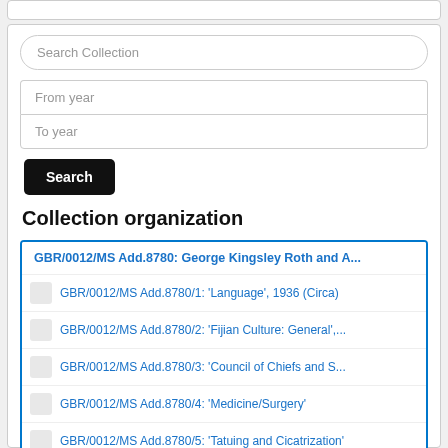Search Collection
From year
To year
Search
Collection organization
GBR/0012/MS Add.8780: George Kingsley Roth and A...
GBR/0012/MS Add.8780/1: 'Language', 1936 (Circa)
GBR/0012/MS Add.8780/2: 'Fijian Culture: General',...
GBR/0012/MS Add.8780/3: 'Council of Chiefs and S...
GBR/0012/MS Add.8780/4: 'Medicine/Surgery'
GBR/0012/MS Add.8780/5: 'Tatuing and Cicatrization'